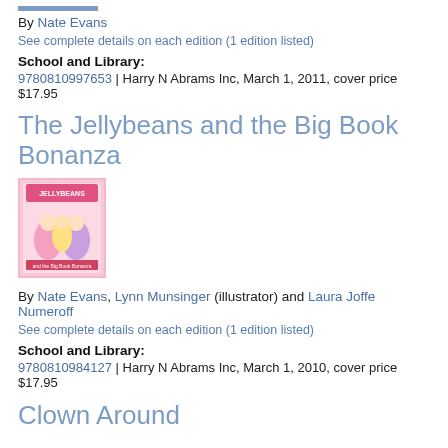By Nate Evans
See complete details on each edition (1 edition listed)
School and Library:
9780810997653 | Harry N Abrams Inc, March 1, 2011, cover price $17.95
The Jellybeans and the Big Book Bonanza
[Figure (photo): Book cover for The Jellybeans and the Big Book Bonanza showing cartoon animal characters on a pink background]
By Nate Evans, Lynn Munsinger (illustrator) and Laura Joffe Numeroff
See complete details on each edition (1 edition listed)
School and Library:
9780810984127 | Harry N Abrams Inc, March 1, 2010, cover price $17.95
Clown Around